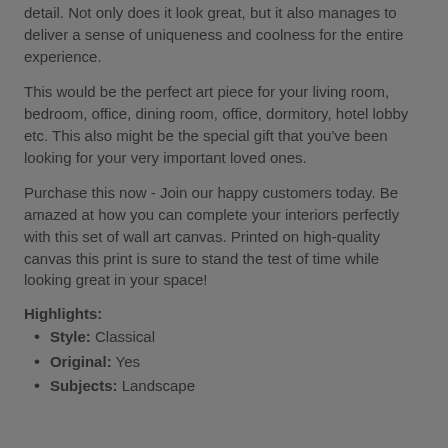detail. Not only does it look great, but it also manages to deliver a sense of uniqueness and coolness for the entire experience.
This would be the perfect art piece for your living room, bedroom, office, dining room, office, dormitory, hotel lobby etc. This also might be the special gift that you've been looking for your very important loved ones.
Purchase this now - Join our happy customers today. Be amazed at how you can complete your interiors perfectly with this set of wall art canvas. Printed on high-quality canvas this print is sure to stand the test of time while looking great in your space!
Highlights:
Style: Classical
Original: Yes
Subjects: Landscape